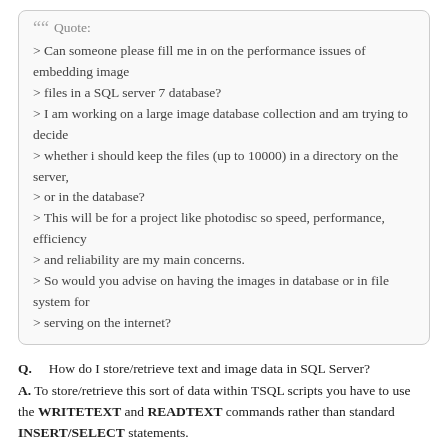Quote:
> Can someone please fill me in on the performance issues of embedding image
> files in a SQL server 7 database?
> I am working on a large image database collection and am trying to decide
> whether i should keep the files (up to 10000) in a directory on the server,
> or in the database?
> This will be for a project like photodisc so speed, performance, efficiency
> and reliability are my main concerns.
> So would you advise on having the images in database or in file system for
> serving on the internet?
Q.    How do I store/retrieve text and image data in SQL Server?
A. To store/retrieve this sort of data within TSQL scripts you have to use the WRITETEXT and READTEXT commands rather than standard INSERT/SELECT statements.
These are documented, with examples, in the books-online but are basically a real pain to use.  There are more manageable commands available from within the
relevant programming languages - e.g. RDO and ADO from VB/C can use GetChunk
and AppendChunk commands - but you still have to manage the image/text